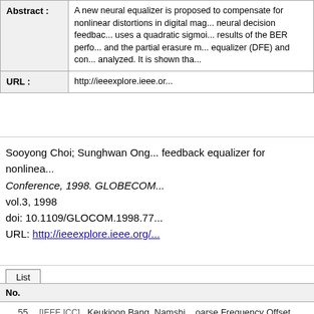|  |  |
| --- | --- |
| Abstract : | A new neural equalizer is proposed to compensate for nonlinear distortions in digital magnetic recording. This neural equalizer uses a neural decision feedback structure (Q-DFE) which uses a quadratic sigmoid activation function. It presents simulation results of the BER performance. The partial erasure channel model and the partial erasure model are used. Performance of neural equalizer (DFE) and conventional decision feedback equalizer are analyzed. It is shown tha... |
| URL : | http://ieeexplore.ieee.or... |
Sooyong Choi; Sunghwan Ong... feedback equalizer for nonlinea... Conference, 1998. GLOBECOM... vol.3, 1998
doi: 10.1109/GLOCOM.1998.77...
URL: http://ieeexplore.ieee.org/...
List
| No. |  |
| --- | --- |
| 55 | [IEEE ICC]   Keukjoon Bang, Namshi... oarse Frequency Offset Estimation i... h", IEEE ICC, Jun. 2000 |
| 54 | [IEEE ICC]   Hayoung Yang, Sungso... |